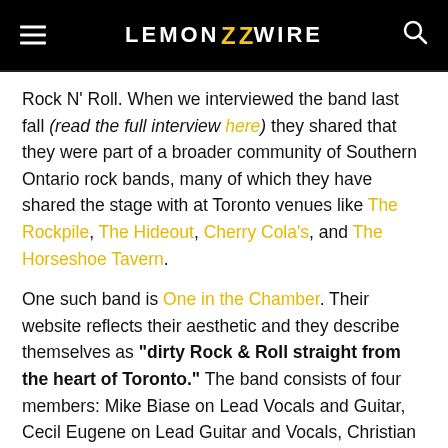LEMON ZZ WIRE
Rock N' Roll. When we interviewed the band last fall (read the full interview here) they shared that they were part of a broader community of Southern Ontario rock bands, many of which they have shared the stage with at Toronto venues like The Rockpile, The Hideout, Cherry Cola's, and The Horseshoe Tavern.

One such band is One in the Chamber. Their website reflects their aesthetic and they describe themselves as "dirty Rock & Roll straight from the heart of Toronto." The band consists of four members: Mike Biase on Lead Vocals and Guitar, Cecil Eugene on Lead Guitar and Vocals, Christian Dotto on Bass and Vocals, and Gerrod Harris on Drums and Vocals. The band has made their rounds in the Toronto scene but have also expanded their reach outside of the GTA, performing in places like Burlington, Brantford